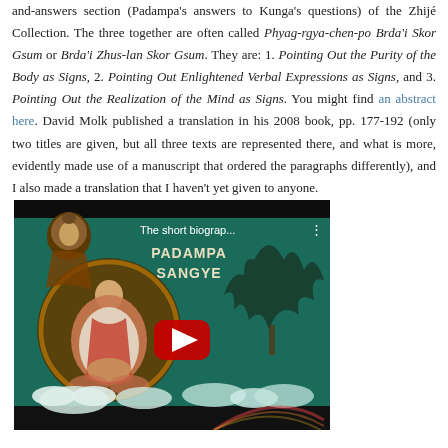and-answers section (Padampa's answers to Kunga's questions) of the Zhijé Collection. The three together are often called Phyag-rgya-chen-po Brda'i Skor Gsum or Brda'i Zhus-lan Skor Gsum. They are: 1. Pointing Out the Purity of the Body as Signs, 2. Pointing Out Enlightened Verbal Expressions as Signs, and 3. Pointing Out the Realization of the Mind as Signs. You might find an abstract here. David Molk published a translation in his 2008 book, pp. 177-192 (only two titles are given, but all three texts are represented there, and what is more, evidently made use of a manuscript that ordered the paragraphs differently), and I also made a translation that I haven't yet given to anyone.
[Figure (screenshot): YouTube video thumbnail showing a Tibetan thangka painting of Padampa Sangye with a Buddha figure in the background, clouds, and a red play button. Title reads 'The short biograp... PADAMPA SANGYE'.]